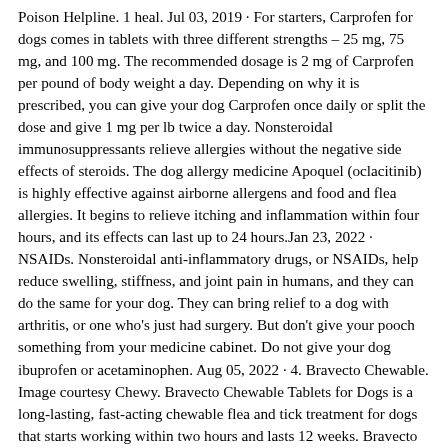Poison Helpline. 1 heal. Jul 03, 2019 · For starters, Carprofen for dogs comes in tablets with three different strengths – 25 mg, 75 mg, and 100 mg. The recommended dosage is 2 mg of Carprofen per pound of body weight a day. Depending on why it is prescribed, you can give your dog Carprofen once daily or split the dose and give 1 mg per lb twice a day. Nonsteroidal immunosuppressants relieve allergies without the negative side effects of steroids. The dog allergy medicine Apoquel (oclacitinib) is highly effective against airborne allergens and food and flea allergies. It begins to relieve itching and inflammation within four hours, and its effects can last up to 24 hours.Jan 23, 2022 · NSAIDs. Nonsteroidal anti-inflammatory drugs, or NSAIDs, help reduce swelling, stiffness, and joint pain in humans, and they can do the same for your dog. They can bring relief to a dog with arthritis, or one who's just had surgery. But don't give your pooch something from your medicine cabinet. Do not give your dog ibuprofen or acetaminophen. Aug 05, 2022 · 4. Bravecto Chewable. Image courtesy Chewy. Bravecto Chewable Tablets for Dogs is a long-lasting, fast-acting chewable flea and tick treatment for dogs that starts working within two hours and lasts 12 weeks. Bravecto Chewable Tablets for Dogs is safe for use in breeding, pregnant and lactating dogs. Aug 05, 2022 · 4. Bravecto Chewable. Image courtesy Chewy. Bravecto Chewable Tablets for Dogs is a long-lasting, fast-acting chewable flea and tick treatment for dogs that starts working within two hours and lasts 12 weeks. Bravecto Chewable Tablets for Dogs is safe for use in breeding, pregnant